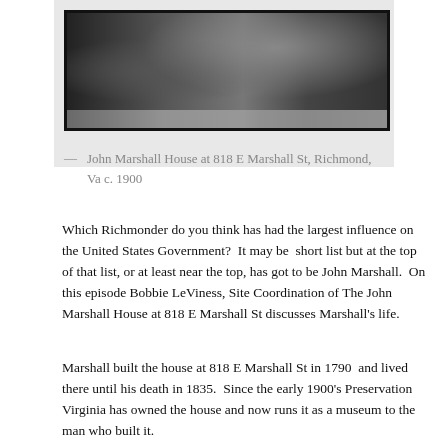[Figure (photo): Black and white photograph of the John Marshall House at 818 E Marshall St, Richmond, Va, circa 1900. Shows a large house with columns and surrounding trees and street.]
— John Marshall House at 818 E Marshall St, Richmond, Va c. 1900
Which Richmonder do you think has had the largest influence on the United States Government? It may be short list but at the top of that list, or at least near the top, has got to be John Marshall. On this episode Bobbie LeViness, Site Coordination of The John Marshall House at 818 E Marshall St discusses Marshall’s life.
Marshall built the house at 818 E Marshall St in 1790 and lived there until his death in 1835. Since the early 1900’s Preservation Virginia has owned the house and now runs it as a museum to the man who built it.